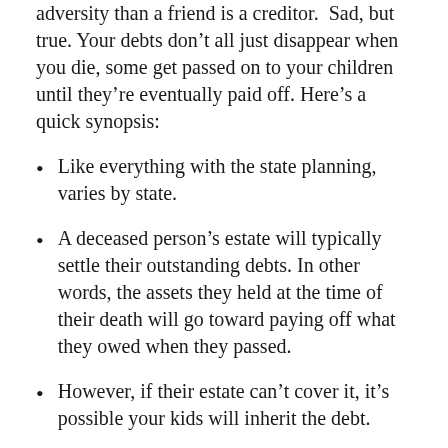adversity than a friend is a creditor.  Sad, but true. Your debts don’t all just disappear when you die, some get passed on to your children until they’re eventually paid off. Here’s a quick synopsis:
Like everything with the state planning, varies by state.
A deceased person’s estate will typically settle their outstanding debts. In other words, the assets they held at the time of their death will go toward paying off what they owed when they passed.
However, if their estate can’t cover it, it’s possible your kids will inherit the debt.